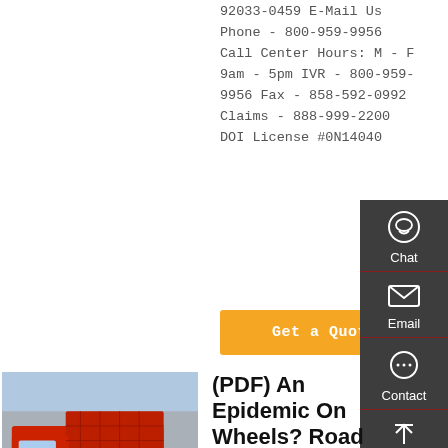92033-0459 E-Mail Us Phone - 800-959-9956 Call Center Hours: M - F 9am - 5pm IVR - 800-959-9956 Fax - 858-592-0992 Claims - 888-999-2200 DOI License #0N14040
Get a Quote
[Figure (photo): Red dump truck parked in front of a grey industrial building]
(PDF) An Epidemic On Wheels? Road Safety, Public Health